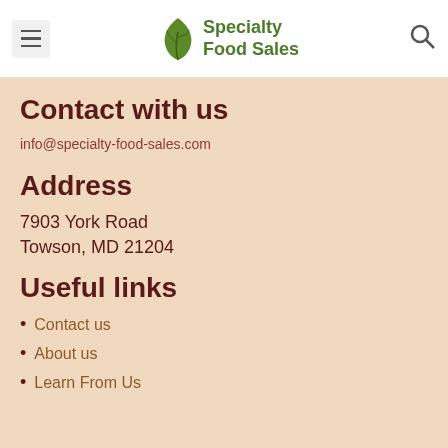Specialty Food Sales
Contact with us
info@specialty-food-sales.com
Address
7903 York Road
Towson, MD 21204
Useful links
Contact us
About us
Learn From Us